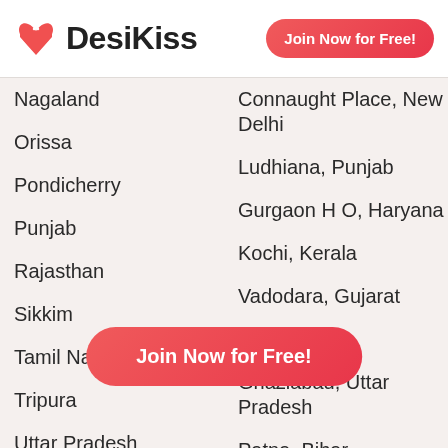[Figure (logo): DesiKiss logo with heart icon and site name]
Join Now for Free!
Nagaland
Connaught Place, New Delhi
Orissa
Ludhiana, Punjab
Pondicherry
Gurgaon H O, Haryana
Punjab
Kochi, Kerala
Rajasthan
Vadodara, Gujarat
Sikkim
New Delhi
Tamil Nadu
Ghaziabad, Uttar Pradesh
Tripura
Patna, Bihar
Uttar Pradesh
Dehradun, Uttarakhand
Uttarakhand
Haryana
West Bengal
Nashik, Maharashtra
Adambakkam, Tamil Nadu
Agra, Uttar Pradesh
Mumbai, Maharashtra
Kolkata, West Bengal
Join Now for Free!